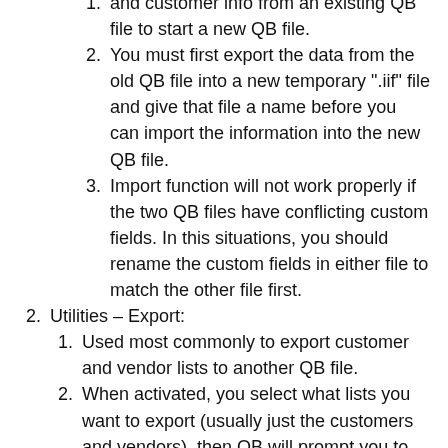and customer info from an existing QB file to start a new QB file.
You must first export the data from the old QB file into a new temporary ".iif" file and give that file a name before you can import the information into the new QB file.
Import function will not work properly if the two QB files have conflicting custom fields. In this situations, you should rename the custom fields in either file to match the other file first.
Utilities – Export:
Used most commonly to export customer and vendor lists to another QB file.
When activated, you select what lists you want to export (usually just the customers and vendors), then QB will prompt you to